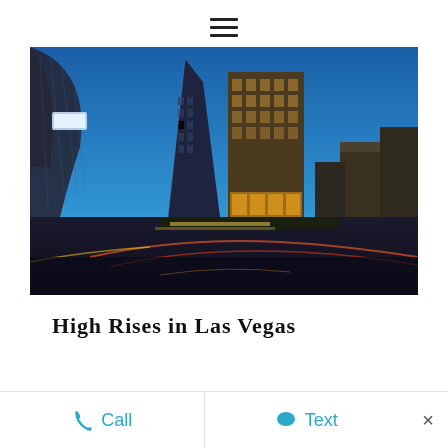☰
[Figure (photo): Fisheye-lens night photo of high-rise skyscrapers in Las Vegas, showing illuminated glass towers against a deep blue sky, with light trails from traffic below]
High Rises in Las Vegas
Call   Text   ×